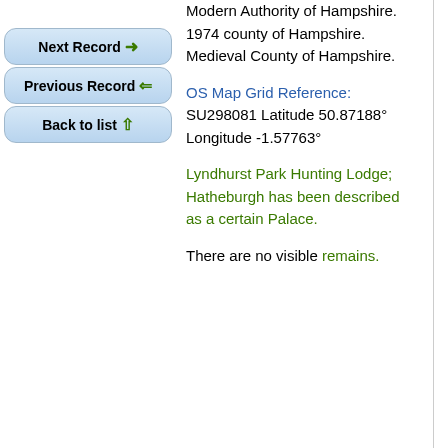Next Record →
Previous Record ←
Back to list ↑
Modern Authority of Hampshire. 1974 county of Hampshire. Medieval County of Hampshire.
OS Map Grid Reference: SU298081 Latitude 50.87188° Longitude -1.57763°
Lyndhurst Park Hunting Lodge; Hatheburgh has been described as a certain Palace.
There are no visible remains.